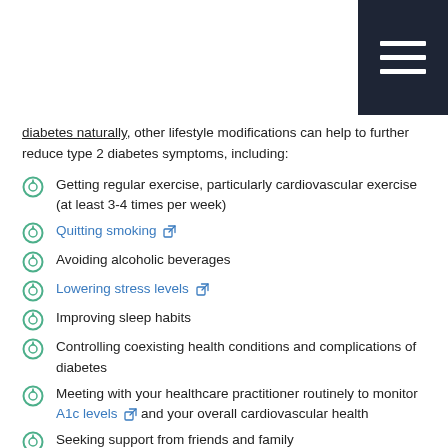diabetes naturally, other lifestyle modifications can help to further reduce type 2 diabetes symptoms, including:
Getting regular exercise, particularly cardiovascular exercise (at least 3-4 times per week)
Quitting smoking [external link]
Avoiding alcoholic beverages
Lowering stress levels [external link]
Improving sleep habits
Controlling coexisting health conditions and complications of diabetes
Meeting with your healthcare practitioner routinely to monitor A1c levels [external link] and your overall cardiovascular health
Seeking support from friends and family
Natural Supplements for Diabetes Type 2
Certain dietary supplements have been demonstrated in